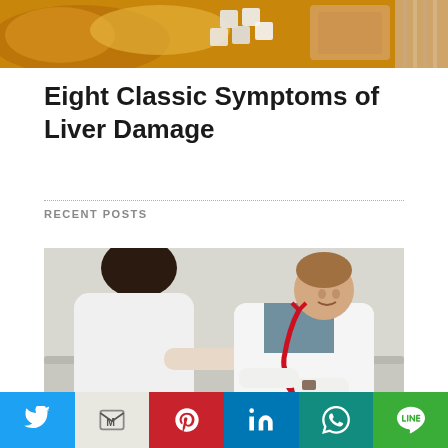[Figure (photo): Top banner image showing food items including honey/amber liquid and sugar cubes/bread]
Eight Classic Symptoms of Liver Damage
RECENT POSTS
[Figure (photo): A doctor with a red stethoscope examining a patient's wrist/arm, checking blood pressure with a device]
Social share bar with Twitter, Gmail, Pinterest, LinkedIn, WhatsApp, Line buttons